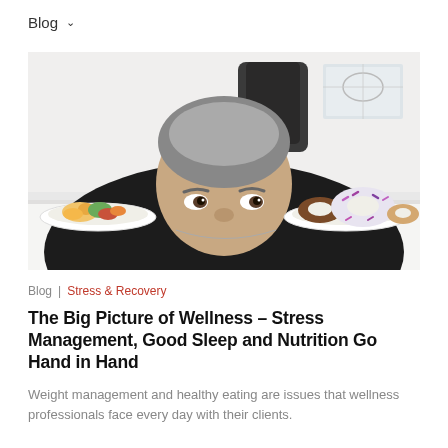Blog ∨
[Figure (photo): A middle-aged man in a dark suit resting his chin on a white table, peering sideways at two plates: one with a salad/food dish on the left, and one with donuts on the right. Office background with a chair and whiteboard.]
Blog | Stress & Recovery
The Big Picture of Wellness – Stress Management, Good Sleep and Nutrition Go Hand in Hand
Weight management and healthy eating are issues that wellness professionals face every day with their clients.